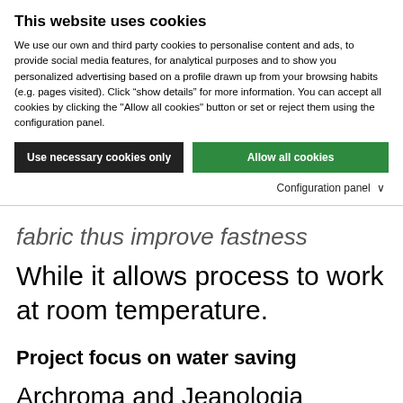This website uses cookies
We use our own and third party cookies to personalise content and ads, to provide social media features, for analytical purposes and to show you personalized advertising based on a profile drawn up from your browsing habits (e.g. pages visited). Click “show details” for more information. You can accept all cookies by clicking the "Allow all cookies" button or set or reject them using the configuration panel.
Use necessary cookies only
Allow all cookies
Configuration panel ∨
fabric thus improve fastness results.
While it allows process to work at room temperature.
Project focus on water saving
Archroma and Jeanologia therefore